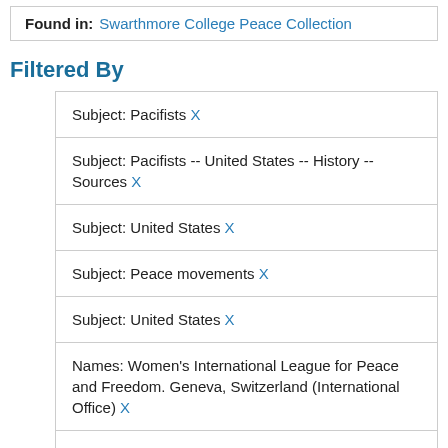Found in: Swarthmore College Peace Collection
Filtered By
Subject: Pacifists X
Subject: Pacifists -- United States -- History -- Sources X
Subject: United States X
Subject: Peace movements X
Subject: United States X
Names: Women's International League for Peace and Freedom. Geneva, Switzerland (International Office) X
Names: Women's International League for Peace and Freedom. U.S. Section X